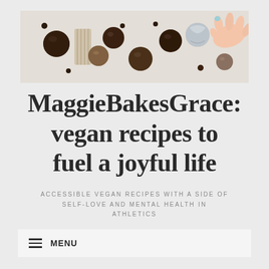[Figure (photo): Overhead photo of chocolate energy balls/truffles on a white surface, some coated in cocoa powder, some in foil wrappers, with a hand reaching in to pick one up.]
MaggieBakesGrace: vegan recipes to fuel a joyful life
ACCESSIBLE VEGAN RECIPES WITH A SIDE OF SELF-LOVE AND MENTAL HEALTH IN ATHLETICS
MENU